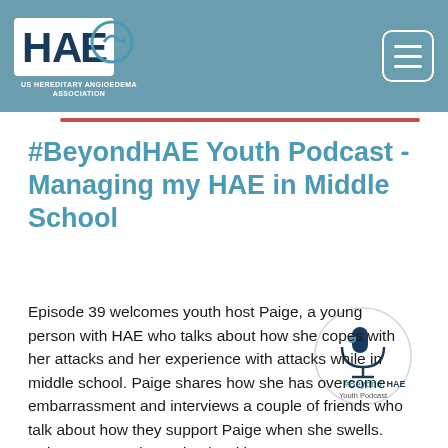US Hereditary Angioedema Association
#BeyondHAE Youth Podcast - Managing my HAE in Middle School
[Figure (logo): BeyondHAE Youth Podcast circular logo with microphone icon, teal and dark blue text reading #BeyondHAE Youth Podcast]
Episode 39 welcomes youth host Paige, a young person with HAE who talks about how she copes with her attacks and her experience with attacks while in middle school. Paige shares how she has overcome embarrassment and interviews a couple of friends who talk about how they support Paige when she swells. Paige wraps up her episode with some